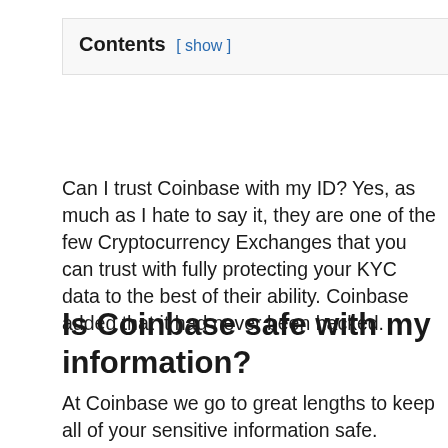Contents [ show ]
Can I trust Coinbase with my ID? Yes, as much as I hate to say it, they are one of the few Cryptocurrency Exchanges that you can trust with fully protecting your KYC data to the best of their ability. Coinbase added that it had never been hacked.
Is Coinbase safe with my information?
At Coinbase we go to great lengths to keep all of your sensitive information safe. Account numbers and routing numbers are stored using bank level AES-256 encryption